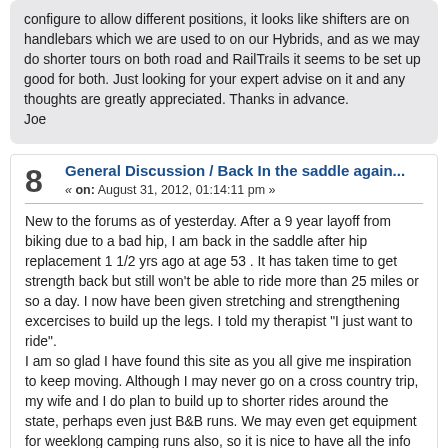configure to allow different positions,  it looks like shifters are on handlebars which we are used to on our Hybrids,  and as we may do shorter tours on both road and RailTrails it seems to be set up good for both.  Just looking for your expert advise on it and any thoughts are greatly appreciated.  Thanks in advance.
Joe
8  General Discussion / Back In the saddle again...
« on: August 31, 2012, 01:14:11 pm »
New to the forums as of yesterday.  After a 9 year layoff from biking due to a bad hip, I am back in the saddle after hip replacement 1 1/2 yrs ago at age 53 .  It has taken time to get strength back but still won't be able to ride more than 25 miles or so a day.  I now have been given stretching and strengthening excercises to build up the legs.  I told my therapist "I just want to ride".
I am so glad I have found this site as you all give me inspiration to keep moving.  Although I may never go on a cross country trip,  my wife and I do plan to build up to shorter rides around the state, perhaps even just B&B runs.  We may even get equipment for weeklong camping runs also, so it is nice to have all the info available here.
So ~ thanks to all of you in advance and most likely will be throwing questions here and there to all of you with experience.
As always, enjoy the ride.